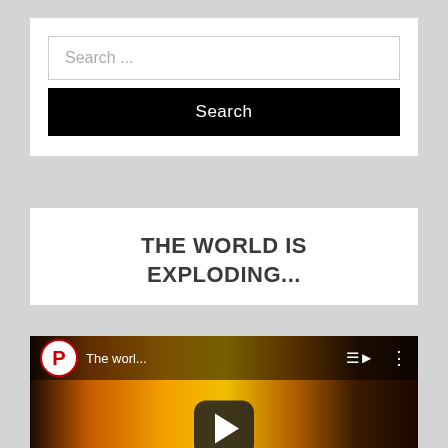[Figure (screenshot): Search widget with text input field showing placeholder 'Search ...' and a black Search button below]
THE WORLD IS EXPLODING...
[Figure (screenshot): YouTube-style video player showing a fire/explosion scene with a logo 'P' in red circle, title 'The worl...', play button overlay, and video controls bar showing 00:00 / 01:09]